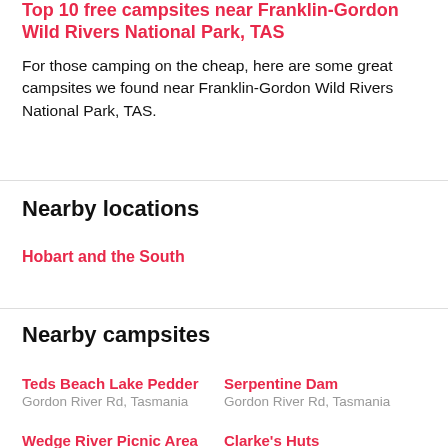Top 10 free campsites near Franklin-Gordon Wild Rivers National Park, TAS
For those camping on the cheap, here are some great campsites we found near Franklin-Gordon Wild Rivers National Park, TAS.
Nearby locations
Hobart and the South
Nearby campsites
Teds Beach Lake Pedder
Gordon River Rd, Tasmania
Serpentine Dam
Gordon River Rd, Tasmania
Wedge River Picnic Area
Clarke's Huts